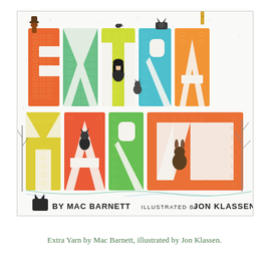[Figure (illustration): Book cover of 'Extra Yarn' by Mac Barnett, illustrated by Jon Klassen. Large colorful letters spell out EXTRA on top and YARN below, filled with knitted/yarn texture patterns in rainbow colors (orange, yellow, green, blue, teal, red). Small illustrated characters including a girl with dark hair, various animals (fox, rabbit, cat, dog), and a bird are positioned around and on the letters. The bottom of the cover reads 'BY MAC BARNETT ILLUSTRATED BY JON KLASSEN' with a small black cat illustration.]
Extra Yarn by Mac Barnett, illustrated by Jon Klassen.